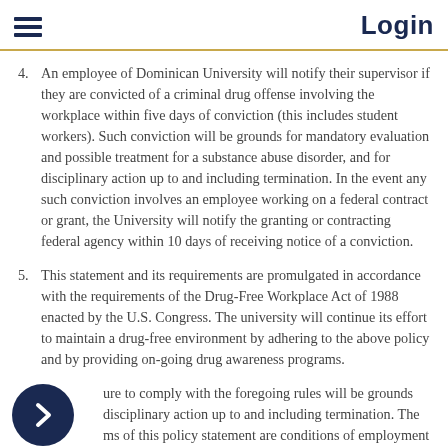Login
4. An employee of Dominican University will notify their supervisor if they are convicted of a criminal drug offense involving the workplace within five days of conviction (this includes student workers). Such conviction will be grounds for mandatory evaluation and possible treatment for a substance abuse disorder, and for disciplinary action up to and including termination. In the event any such conviction involves an employee working on a federal contract or grant, the University will notify the granting or contracting federal agency within 10 days of receiving notice of a conviction.
5. This statement and its requirements are promulgated in accordance with the requirements of the Drug-Free Workplace Act of 1988 enacted by the U.S. Congress. The university will continue its effort to maintain a drug-free environment by adhering to the above policy and by providing on-going drug awareness programs.
...ure to comply with the foregoing rules will be grounds ...disciplinary action up to and including termination. The ...rms of this policy statement are conditions of employment